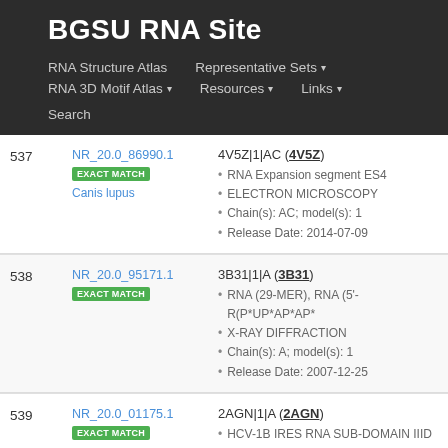BGSU RNA Site
RNA Structure Atlas | Representative Sets ▾ | RNA 3D Motif Atlas ▾ | Resources ▾ | Links ▾ | Search
| # | ID | Info |
| --- | --- | --- |
| 537 | NR_20.0_86990.1 EXACT MATCH Canis lupus | 4V5Z|1|AC (4V5Z) • RNA Expansion segment ES4 • ELECTRON MICROSCOPY • Chain(s): AC; model(s): 1 • Release Date: 2014-07-09 |
| 538 | NR_20.0_95171.1 EXACT MATCH | 3B31|1|A (3B31) • RNA (29-MER), RNA (5'-R(P*UP*AP*AP* • X-RAY DIFFRACTION • Chain(s): A; model(s): 1 • Release Date: 2007-12-25 |
| 539 | NR_20.0_01175.1 EXACT MATCH | 2AGN|1|A (2AGN) • HCV-1B IRES RNA SUB-DOMAIN IIID • ELECTRON MICROSCOPY |